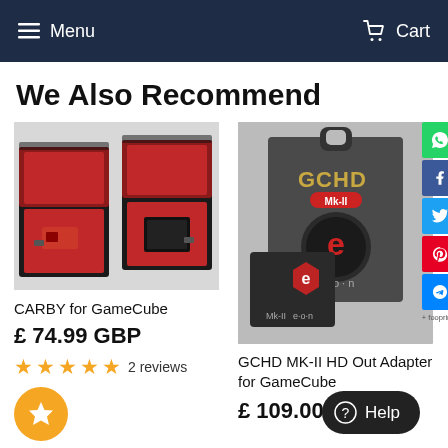Menu  Cart
We Also Recommend
[Figure (photo): CARBY for GameCube product photo showing two open red-lined black boxes with electronic components inside]
CARBY for GameCube
£ 74.99 GBP
2 reviews
[Figure (photo): GCHD MK-II HD Out Adapter for GameCube product photo showing black packaging and device with e-on and Mk-II branding]
GCHD MK-II HD Out Adapter for GameCube
£ 109.00 GBP